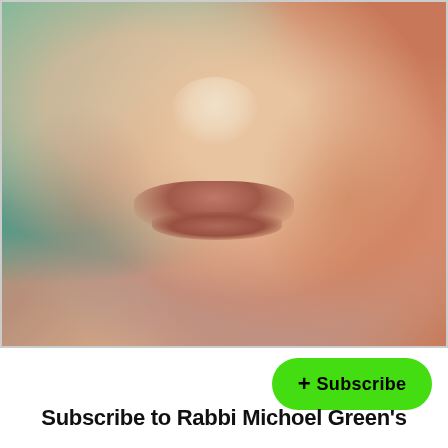[Figure (photo): Close-up photo of a newborn baby's face showing nose, lips, and cheek with warm reddish-pink skin tones and soft lighting]
[Figure (other): Green pill-shaped Subscribe button with a plus sign and the word Subscribe in bold black text]
Subscribe to Rabbi Michoel Green's